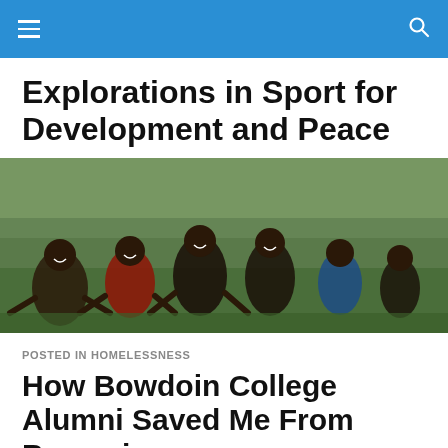Explorations in Sport for Development and Peace
[Figure (photo): Group of smiling children crouching on a grassy field, posing for the camera outdoors.]
POSTED IN HOMELESSNESS
How Bowdoin College Alumni Saved Me From Becoming